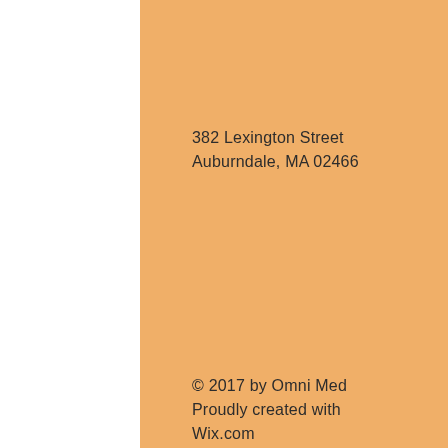382 Lexington Street
Auburndale, MA 02466
© 2017 by Omni Med
Proudly created with
Wix.com
[Figure (logo): Omni Med swirl logo in blue teal and light blue colors]
[Figure (logo): Social media icons: Facebook (blue), Instagram (pink/red), Twitter (light blue)]